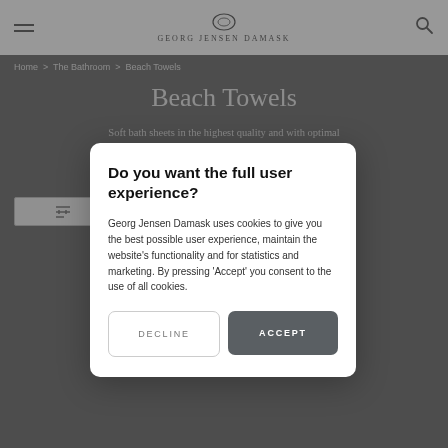GEORG JENSEN DAMASK
Home > The Bathroom > Beach Towels
Beach Towels
Soft bath sheets in the highest quality and with optimal dry... and
[Figure (screenshot): Cookie consent modal dialog overlay on Georg Jensen Damask website showing Beach Towels page]
Do you want the full user experience?
Georg Jensen Damask uses cookies to give you the best possible user experience, maintain the website's functionality and for statistics and marketing. By pressing 'Accept' you consent to the use of all cookies.
DECLINE
ACCEPT